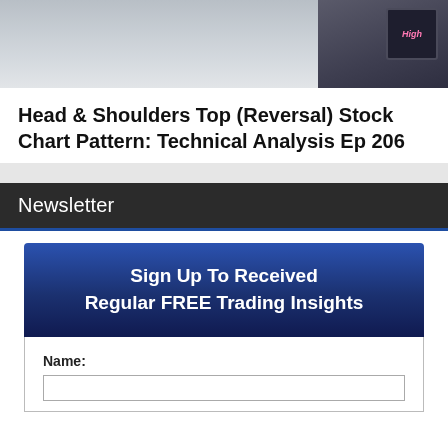[Figure (photo): Partial photo of a person in a dark jacket, with a pink-labeled badge/sign visible on the right side]
Head & Shoulders Top (Reversal) Stock Chart Pattern: Technical Analysis Ep 206
Newsletter
Sign Up To Received Regular FREE Trading Insights
Name: